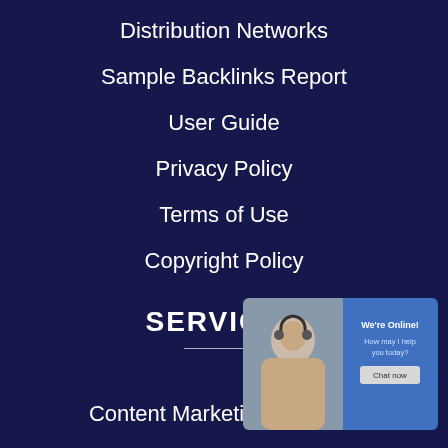Distribution Networks
Sample Backlinks Report
User Guide
Privacy Policy
Terms of Use
Copyright Policy
SERVICES
Content Marketing Services
Guest Post Services
[Figure (screenshot): Live chat widget showing a support person with headset and text 'We're Online! How may I help you today?' with a 'Chat now' button]